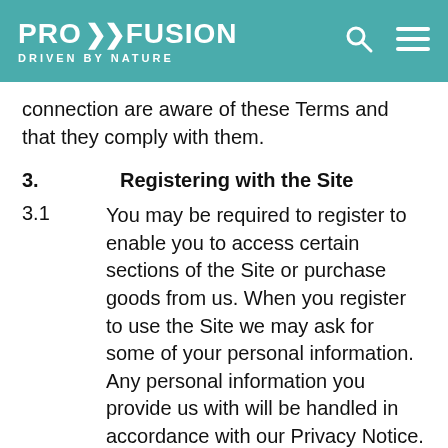PRO >> FUSION DRIVEN BY NATURE
connection are aware of these Terms and that they comply with them.
3.        Registering with the Site
3.1        You may be required to register to enable you to access certain sections of the Site or purchase goods from us. When you register to use the Site we may ask for some of your personal information. Any personal information you provide us with will be handled in accordance with our Privacy Notice.